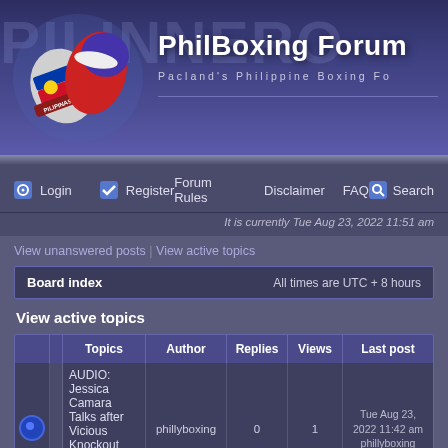[Figure (screenshot): PhilBoxing Forum banner with Philippine boxing gloves graphic on left and forum title text on right against dark blue gradient background]
Login | Register | Forum Rules | Disclaimer | FAQ | Search
It is currently Tue Aug 23, 2022 11:51 am
View unanswered posts | View active topics
Board index  All times are UTC + 8 hours
View active topics
|  |  | Topics | Author | Replies | Views | Last post |
| --- | --- | --- | --- | --- | --- | --- |
|  |  | AUDIO: Jessica Camara Talks after Vicious Knockout over Simo in General Boxing | phillyboxing | 0 | 1 | Tue Aug 23, 2022 11:42 am phillyboxing |